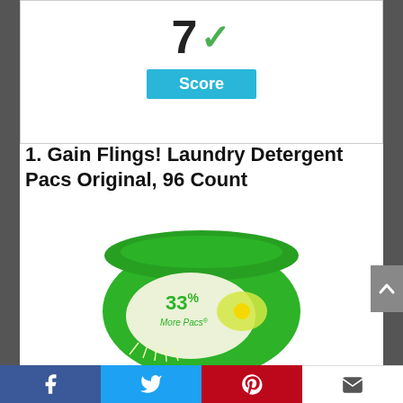[Figure (infographic): Score display box showing '7' with a green checkmark and a blue 'Score' button below]
1. Gain Flings! Laundry Detergent Pacs Original, 96 Count
[Figure (photo): Gain Flings laundry detergent container (green, round) showing '33% More Pacs' label]
[Figure (infographic): Social sharing bar with Facebook, Twitter, Pinterest, and Email buttons]